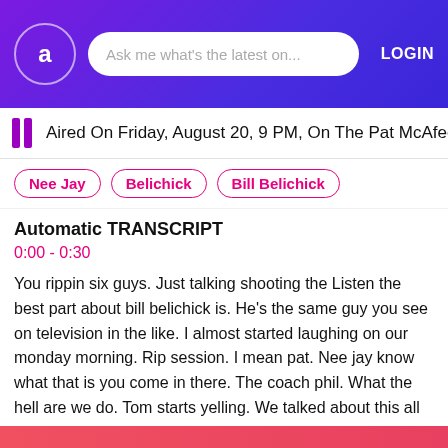Ask me what's the latest on...  LOGIN
Aired On Friday, August 20, 9 PM, On The Pat McAfee
Nee Jay
Belichick
Bill Belichick
Automatic TRANSCRIPT
0:00 - 0:30
You rippin six guys. Just talking shooting the Listen the best part about bill belichick is. He's the same guy you see on television in the like. I almost started laughing on our monday morning. Rip session. I mean pat. Nee jay know what that is you come in there. The coach phil. What the hell are we do. Tom starts yelling. We talked about this all week and we sucked it off right here in front of everybody. It's it's amazing. Like i'm almost dying
Show More